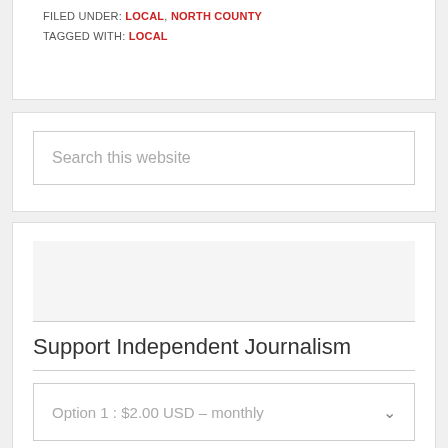FILED UNDER: LOCAL, NORTH COUNTY
TAGGED WITH: LOCAL
[Figure (screenshot): Search box with placeholder text 'Search this website']
Support Independent Journalism
[Figure (screenshot): Dropdown select showing 'Option 1 : $2.00 USD – monthly' with chevron arrow]
[Figure (screenshot): Subscribe button area partially visible at bottom]